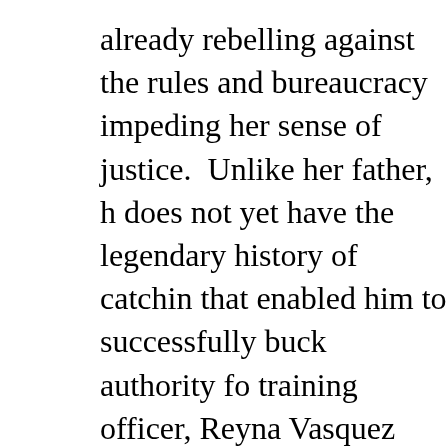already rebelling against the rules and bureaucracy impeding her sense of justice.  Unlike her father, she does not yet have the legendary history of catching criminals that enabled him to successfully buck authority for years.  Her training officer, Reyna Vasquez (Denise G. Sanchez), keeps her in line while teaching her the ropes.  Mimi Rogers as lawyer, Honey Chandler, who sometimes hires Harry to work a case for her, is the third cast member from Bosch here.  Stephen Chang is the newbie, playing Maurice, Harry's tech expert, who shares his love of jazz.
On paper, Bosch is the type of character you might dismiss as another hard-boiled detective throwback.  In the hands of Welliver, however, Harry Bosch is one of the most watchable characters on television.  Welliver has had many guest-starring and recurring TV roles over the years, but to see him in the lead.  He melts into the character...